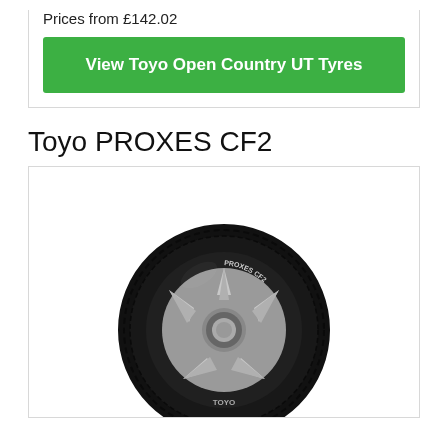Prices from £142.02
View Toyo Open Country UT Tyres
Toyo PROXES CF2
[Figure (photo): Toyo PROXES CF2 tyre product photo showing a black tyre with silver alloy wheel on a white background]